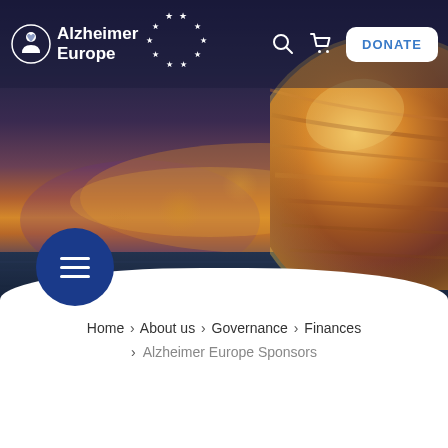[Figure (screenshot): Alzheimer Europe website header with logo, search icon, cart icon, DONATE button, and a hero background image showing a blurred sunset/dusk scene with a planet/globe on the right side. Below the hero is a white section with a hamburger menu button and breadcrumb navigation.]
Alzheimer Europe
DONATE
Home > About us > Governance > Finances > Alzheimer Europe Sponsors